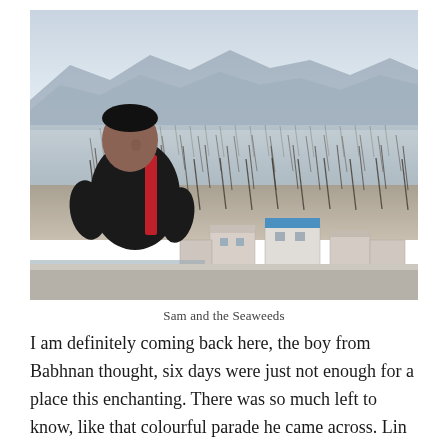[Figure (photo): A man in a black and red jacket sits on a rooftop or elevated area, looking back at the camera. Behind him is a coastal Chinese village with buildings (one with a blue roof), and a vast tidal flat or bay filled with rows of bamboo poles used for seaweed cultivation. Mountains are visible in the misty background.]
Sam and the Seaweeds
I am definitely coming back here, the boy from Babhnan thought, six days were just not enough for a place this enchanting. There was so much left to know, like that colourful parade he came across. Lin had made him tick them all. Dong Bi, Xia Qing Shan, Ba Chi Men, Xiao Hao, Beiqi, Nan Wan, Yangjiaxi, Sha Wan, Yantian, the ancient town whose name he